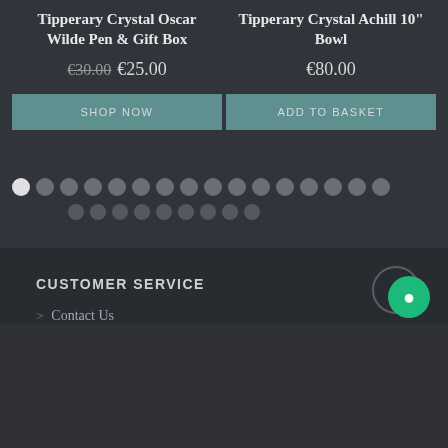Tipperary Crystal Oscar Wilde Pen & Gift Box
€30.00 €25.00
SHOP NOW
Tipperary Crystal Achill 10" Bowl
€80.00
ADD TO BASKET
[Figure (other): Pagination dots: one active white dot followed by two rows of gray dots indicating carousel navigation]
CUSTOMER SERVICE
> Contact Us